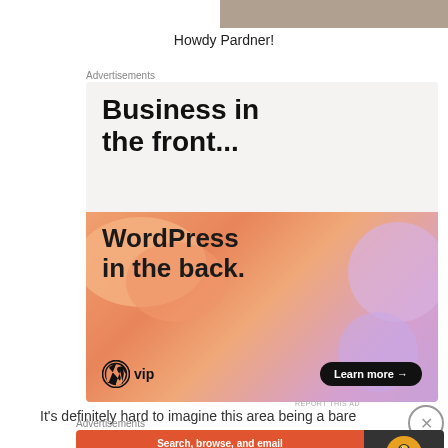[Figure (photo): Partial top image strip, appears to be a photo of a person or scene, cropped at top]
Howdy Pardner!
Advertisements
[Figure (other): Advertisement banner for WordPress VIP. Top half on light gray background reads 'Business in the front...' in large bold black text. Bottom half on orange/peach gradient background reads 'WordPress in the back.' with WordPress VIP logo and 'Learn more →' button.]
REPORT THIS AD
It's definitely hard to imagine this area being a bare
Advertisements
[Figure (other): DuckDuckGo advertisement banner. Orange background on left with text 'Search, browse, and email with more privacy. All in One Free App'. Dark background on right with DuckDuckGo duck logo and DuckDuckGo text.]